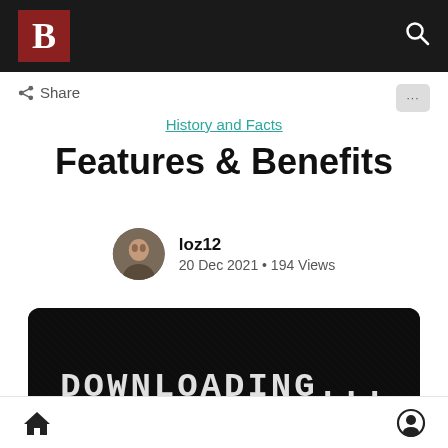B [logo] — search icon navigation bar
Share
History and Facts
Features & Benefits
loz12
20 Dec 2021 • 194 Views
[Figure (photo): Dark textured background with the text 'DOWNLOADING...' in large monospace white letters]
Home icon and user/account icon navigation bar at bottom